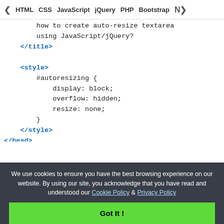◀ HTML   CSS   JavaScript   jQuery   PHP   Bootstrap   N▶
how to create auto-resize textarea
        using JavaScript/jQuery?
    </title>

    <style>
        #autoresizing {
            display: block;
            overflow: hidden;
            resize: none;
        }
    </style>
</head>

<body>
    <h1 style="color: green">
        GeeksforGeeks
We use cookies to ensure you have the best browsing experience on our website. By using our site, you acknowledge that you have read and understood our Cookie Policy & Privacy Policy
Got It !